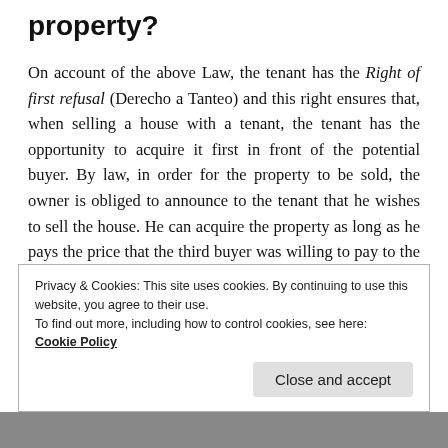property?
On account of the above Law, the tenant has the Right of first refusal (Derecho a Tanteo) and this right ensures that, when selling a house with a tenant, the tenant has the opportunity to acquire it first in front of the potential buyer. By law, in order for the property to be sold, the owner is obliged to announce to the tenant that he wishes to sell the house. He can acquire the property as long as he pays the price that the third buyer was willing to pay to the lessor.
Privacy & Cookies: This site uses cookies. By continuing to use this website, you agree to their use.
To find out more, including how to control cookies, see here:
Cookie Policy
Close and accept